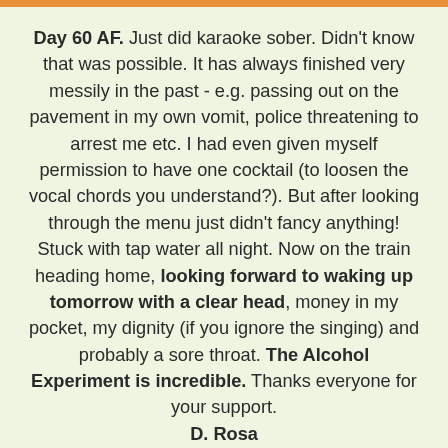Day 60 AF. Just did karaoke sober. Didn't know that was possible. It has always finished very messily in the past - e.g. passing out on the pavement in my own vomit, police threatening to arrest me etc. I had even given myself permission to have one cocktail (to loosen the vocal chords you understand?). But after looking through the menu just didn't fancy anything! Stuck with tap water all night. Now on the train heading home, looking forward to waking up tomorrow with a clear head, money in my pocket, my dignity (if you ignore the singing) and probably a sore throat. The Alcohol Experiment is incredible. Thanks everyone for your support. D. Rosa